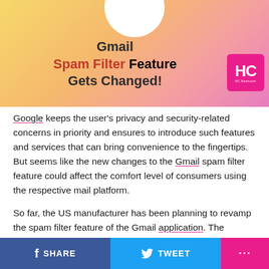Gmail Spam Filter Feature Gets Changed!
Google keeps the user's privacy and security-related concerns in priority and ensures to introduce such features and services that can bring convenience to the fingertips. But seems like the new changes to the Gmail spam filter feature could affect the comfort level of consumers using the respective mail platform.
So far, the US manufacturer has been planning to revamp the spam filter feature of the Gmail application. The company put forth its idea in front of the Federal Election Commission that eventually let political emails enter your notification desk without any restrictions.
SHARE   TWEET   ...